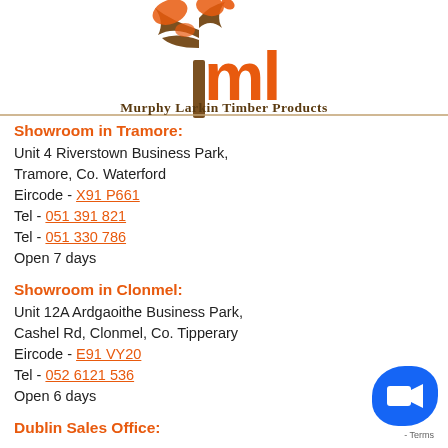[Figure (logo): Murphy Larkin Timber Products logo with tree silhouette and orange ML letters]
Showroom in Tramore:
Unit 4 Riverstown Business Park,
Tramore, Co. Waterford
Eircode - X91 P661
Tel - 051 391 821
Tel - 051 330 786
Open 7 days
Showroom in Clonmel:
Unit 12A Ardgaoithe Business Park,
Cashel Rd, Clonmel, Co. Tipperary
Eircode - E91 VY20
Tel - 052 6121 536
Open 6 days
Dublin Sales Office: